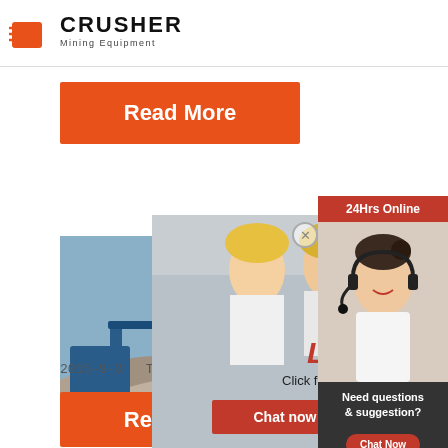[Figure (logo): Crusher Mining Equipment logo with red shopping bag icon and bold CRUSHER text]
Read More
[Figure (photo): Mining site with crushed stone and excavator equipment]
[Figure (photo): Workers in yellow hard hats at industrial facility - Live Chat popup overlay with Chat now and Chat later buttons]
[Figure (photo): Customer service representative with headset - sidebar with 24Hrs Online, Need questions & suggestion, Chat Now, Enquiry, limingjlmofen@sina.com]
2015-9-3   The valuable minerals are then sep
Read More